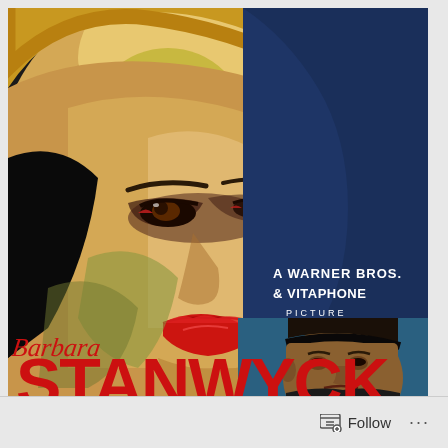[Figure (illustration): Vintage movie poster for a Warner Bros. & Vitaphone picture featuring Barbara Stanwyck. Large illustrated close-up of a blonde woman's face with dramatic makeup on the left and top, dark background on left side. Blue background on right with text 'A WARNER BROS. & VITAPHONE PICTURE'. Red cursive 'Barbara' above large red block letters 'STANWYCK'. Bottom right shows a smaller illustrated portrait of a dark-haired man against a blue background.]
Follow ...